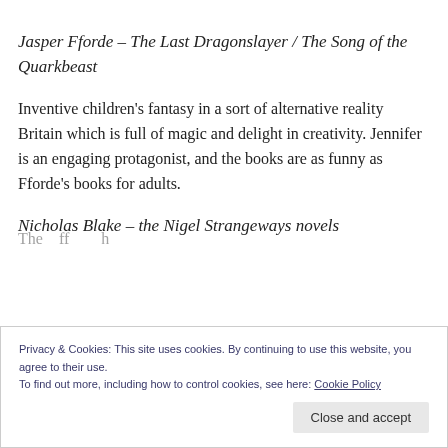Jasper Fforde – The Last Dragonslayer / The Song of the Quarkbeast
Inventive children's fantasy in a sort of alternative reality Britain which is full of magic and delight in creativity. Jennifer is an engaging protagonist, and the books are as funny as Fforde's books for adults.
Nicholas Blake – the Nigel Strangeways novels
in The Whisper in the Gloom reminds me of Blake's novel
Privacy & Cookies: This site uses cookies. By continuing to use this website, you agree to their use.
To find out more, including how to control cookies, see here: Cookie Policy